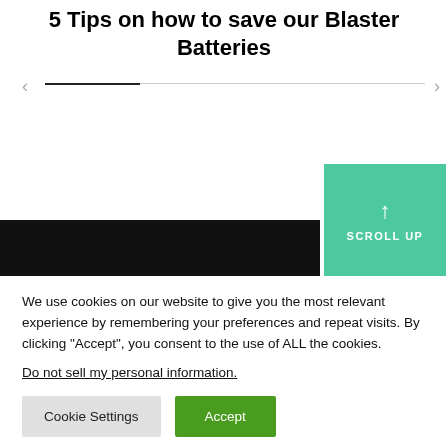5 Tips on how to save our Blaster Batteries
[Figure (screenshot): Slider navigation with left and right arrows and a progress indicator line, partially filled in dark]
[Figure (screenshot): Teal/green scroll-up button with upward arrow icon and text SCROLL UP, overlapping a dark black navigation bar]
We use cookies on our website to give you the most relevant experience by remembering your preferences and repeat visits. By clicking “Accept”, you consent to the use of ALL the cookies.
Do not sell my personal information.
Cookie Settings   Accept